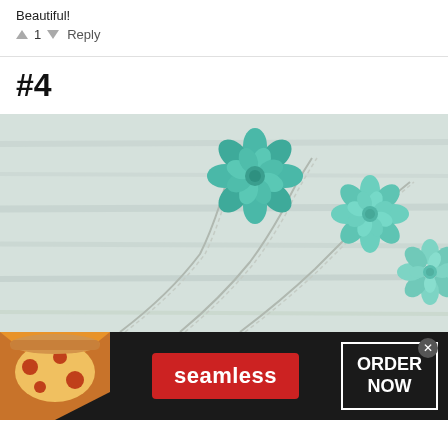Beautiful!
↑ 1 ↓  Reply
#4
[Figure (photo): Three teal/mint succulent flower hair pins on a light wood background]
[Figure (screenshot): Seamless food delivery advertisement banner with pizza image on left, red Seamless logo in center, and ORDER NOW button on right with X close button]